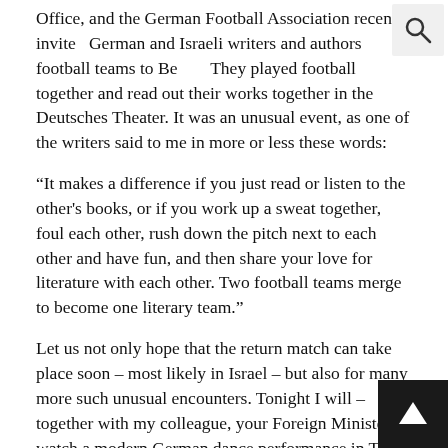Office, and the German Football Association recently invited German and Israeli writers and authors football teams to Berlin. They played football together and read out their works together in the Deutsches Theater. It was an unusual event, as one of the writers said to me in more or less these words:
“It makes a difference if you just read or listen to the other's books, or if you work up a sweat together, foul each other, rush down the pitch next to each other and have fun, and then share your love for literature with each other. Two football teams merge to become one literary team.”
Let us not only hope that the return match can take place soon – most likely in Israel – but also for many more such unusual encounters. Tonight I will – together with my colleague, your Foreign Minister - watch a modern German dance performance in Tel Aviv, put on by the wonderful Sasha Waltz company.
Earlier on I mentioned that the special nature of our relationship is revealed above all in the fields of education and